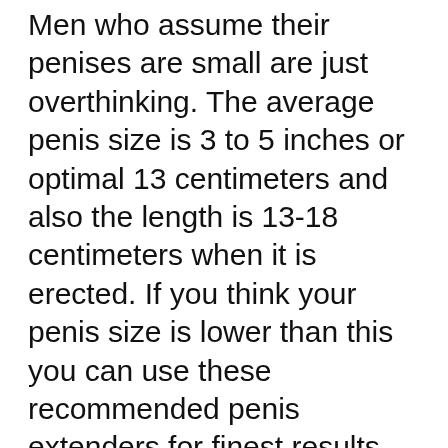Men who assume their penises are small are just overthinking. The average penis size is 3 to 5 inches or optimal 13 centimeters and also the length is 13-18 centimeters when it is erected. If you think your penis size is lower than this you can use these recommended penis extenders for finest results. You must use them for at the very least 6 months and also 7 hrs a day to get optimal gains and better results in shorter time.
An additional penis stretching workout that you can do is the German stretch. This is done by extending your penis head up and also down utilizing only your two forefinger. See to it that you do this for around 10 secs and afterwards repeat for another 10